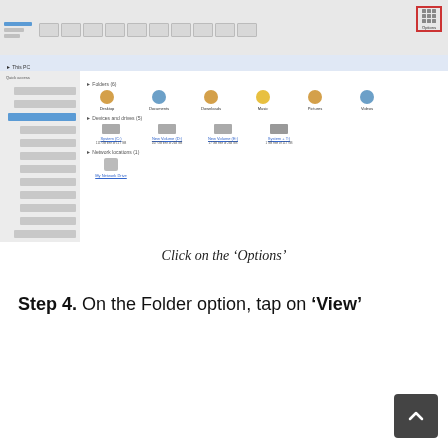[Figure (screenshot): Windows File Explorer screenshot showing This PC with folders (Desktop, Documents, Downloads, Music, Pictures, Videos) and drives. The 'Options' button in the top-right ribbon is highlighted with a red border.]
Click on the ‘Options’
Step 4. On the Folder option, tap on ‘View’